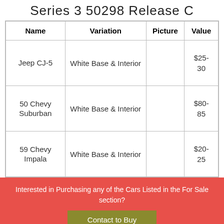Series 3 50298 Release C
| Name | Variation | Picture | Value |
| --- | --- | --- | --- |
| Jeep CJ-5 | White Base & Interior |  | $25-30 |
| 50 Chevy Suburban | White Base & Interior |  | $80-85 |
| 59 Chevy Impala | White Base & Interior |  | $20-25 |
Interested in Purchasing any of the Cars Listed in the For Sale section?
Contact to Buy